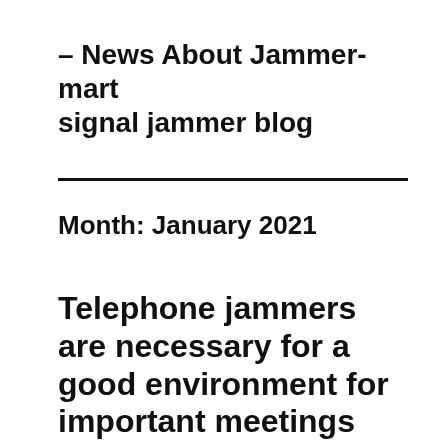– News About Jammer-mart signal jammer blog
Month: January 2021
Telephone jammers are necessary for a good environment for important meetings